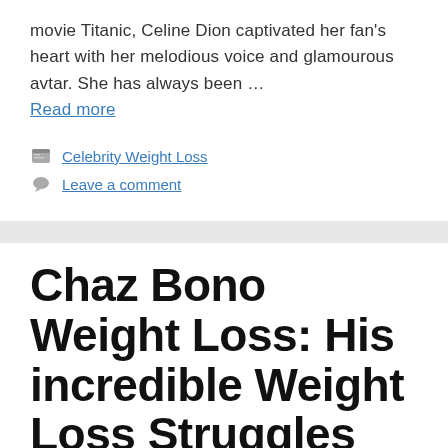movie Titanic, Celine Dion captivated her fan's heart with her melodious voice and glamourous avtar. She has always been … Read more
Celebrity Weight Loss
Leave a comment
Chaz Bono Weight Loss: His incredible Weight Loss Struggles
January 7, 2022 by admin